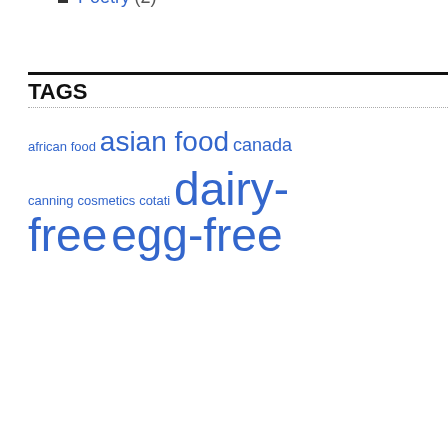Shabbus (5)
Sukkot (1)
Thanksgiving (9)
Valentine's Day (1)
Travel (7)
Campgrounds (3)
Rest Stops (1)
Route Planning (2)
Weather (1)
Website Commentary (1)
Writings (3)
Poetry (2)
TAGS
african food asian food canada canning cosmetics cotati dairy-free egg-free